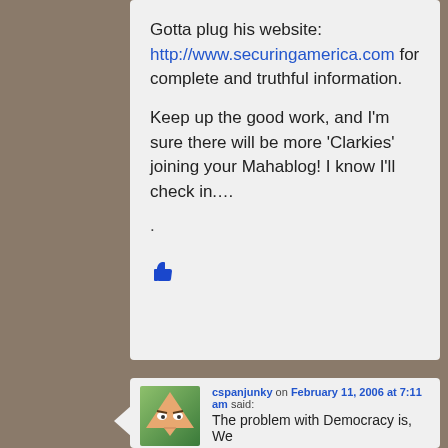Gotta plug his website: http://www.securingamerica.com for complete and truthful information.

Keep up the good work, and I'm sure there will be more ‘Clarkies’ joining your Mahablog! I know I'll check in….
.
👍
cspanjunky on February 11, 2006 at 7:11 am said: The problem with Democracy is, We